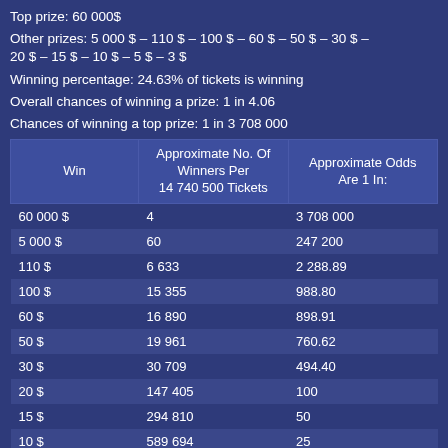Top prize: 60 000$
Other prizes: 5 000 $ – 110 $ – 100 $ – 60 $ – 50 $ – 30 $ – 20 $ – 15 $ – 10 $ – 5 $ – 3 $
Winning percentage: 24.63% of tickets is winning
Overall chances of winning a prize: 1 in 4.06
Chances of winning a top prize: 1 in 3 708 000
| Win | Approximate No. Of Winners Per 14 740 500 Tickets | Approximate Odds Are 1 In: |
| --- | --- | --- |
| 60 000 $ | 4 | 3 708 000 |
| 5 000 $ | 60 | 247 200 |
| 110 $ | 6 633 | 2 288.89 |
| 100 $ | 15 355 | 988.80 |
| 60 $ | 16 890 | 898.91 |
| 50 $ | 19 961 | 760.62 |
| 30 $ | 30 709 | 494.40 |
| 20 $ | 147 405 | 100 |
| 15 $ | 294 810 | 50 |
| 10 $ | 589 694 | 25 |
| 5 $ | 884 393 | 16.67 |